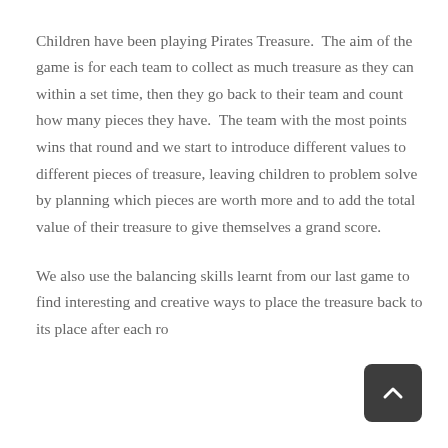Children have been playing Pirates Treasure.  The aim of the game is for each team to collect as much treasure as they can within a set time, then they go back to their team and count how many pieces they have.  The team with the most points wins that round and we start to introduce different values to different pieces of treasure, leaving children to problem solve by planning which pieces are worth more and to add the total value of their treasure to give themselves a grand score.
We also use the balancing skills learnt from our last game to find interesting and creative ways to place the treasure back to its place after each round.